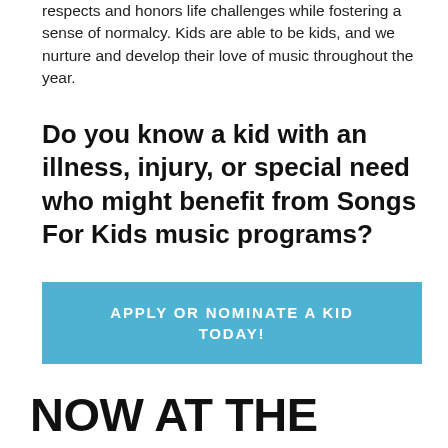respects and honors life challenges while fostering a sense of normalcy. Kids are able to be kids, and we nurture and develop their love of music throughout the year.
Do you know a kid with an illness, injury, or special need who might benefit from Songs For Kids music programs?
APPLY OR NOMINATE A KID TODAY!
NOW AT THE SONGS FOR KIDS CENTER